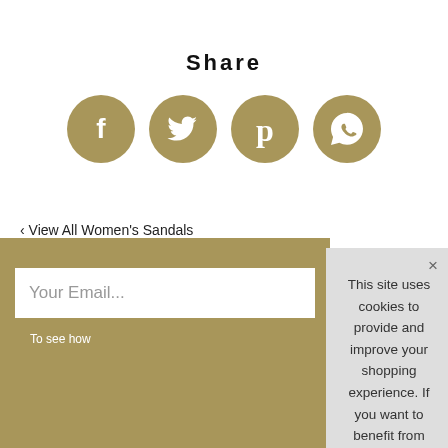Share
[Figure (illustration): Four gold circular social media icon buttons: Facebook (f), Twitter (bird), Pinterest (p), WhatsApp (message bubble)]
‹ View All Women's Sandals
This site uses cookies to provide and improve your shopping experience. If you want to benefit from this improved service, please opt-in. Cookies Page.
I opt-in to a better browsing experience
Accept Cookies
Your Email...
To see how